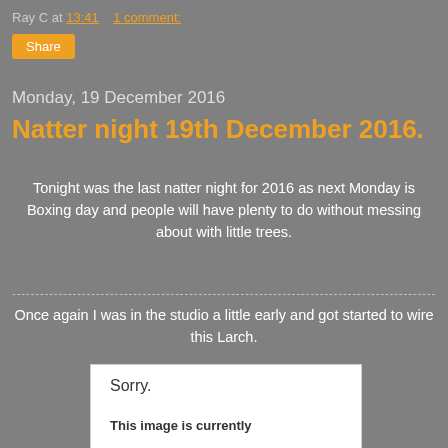Ray C at 13:41    1 comment:
Share
Monday, 19 December 2016
Natter night 19th December 2016.
Tonight was the last natter night for 2016 as next Monday is Boxing day and people will have plenty to do without messing about with little trees.
Once again I was in the studio a little early and got started to wire this Larch.
[Figure (other): Placeholder image with 'Sorry. This image is currently' text on white background]